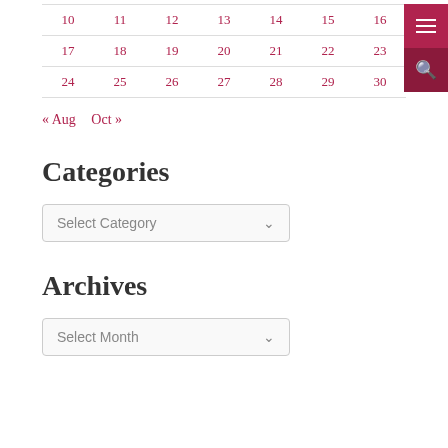| 10 | 11 | 12 | 13 | 14 | 15 | 16 |
| 17 | 18 | 19 | 20 | 21 | 22 | 23 |
| 24 | 25 | 26 | 27 | 28 | 29 | 30 |
« Aug   Oct »
Categories
Select Category
Archives
Select Month